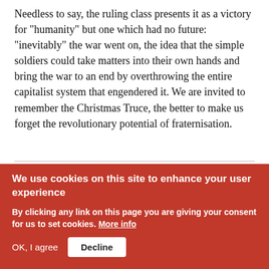Needless to say, the ruling class presents it as a victory for "humanity" but one which had no future: "inevitably" the war went on, the idea that the simple soldiers could take matters into their own hands and bring the war to an end by overthrowing the entire capitalist system that engendered it. We are invited to remember the Christmas Truce, the better to make us forget the revolutionary potential of fraternisation.
[Figure (photo): Partial black and white photograph of a person, partially cropped, with a quote beginning with 'Th e' visible to the right]
"Th e
We use cookies on this site to enhance your user experience
By clicking any link on this page you are giving your consent for us to set cookies. More info
OK, I agree
Decline